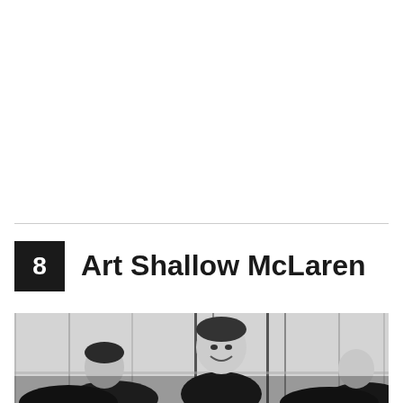8  Art Shallow McLaren
[Figure (photo): Black and white photograph showing multiple people, with a young man smiling prominently in the center, others partially visible around him, background appears to be wooden paneling or similar interior.]